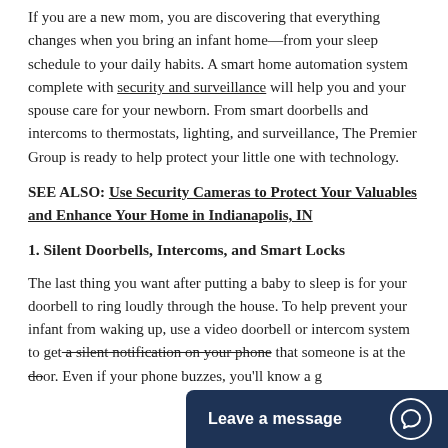If you are a new mom, you are discovering that everything changes when you bring an infant home—from your sleep schedule to your daily habits. A smart home automation system complete with security and surveillance will help you and your spouse care for your newborn. From smart doorbells and intercoms to thermostats, lighting, and surveillance, The Premier Group is ready to help protect your little one with technology.
SEE ALSO: Use Security Cameras to Protect Your Valuables and Enhance Your Home in Indianapolis, IN
1. Silent Doorbells, Intercoms, and Smart Locks
The last thing you want after putting a baby to sleep is for your doorbell to ring loudly through the house. To help prevent your infant from waking up, use a video doorbell or intercom system to get a silent notification on your phone that someone is at the door. Even if your phone buzzes, you'll know a g...
[Figure (other): Chat widget button with text 'Leave a message' and a speech bubble icon on dark navy background]